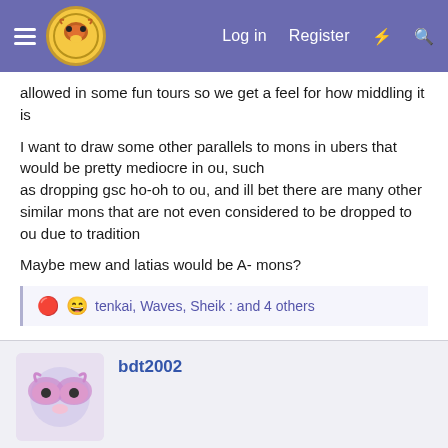Smogon Forums - Log in | Register
allowed in some fun tours so we get a feel for how middling it is
I want to draw some other parallels to mons in ubers that would be pretty mediocre in ou, such
as dropping gsc ho-oh to ou, and ill bet there are many other similar mons that are not even considered to be dropped to ou due to tradition
Maybe mew and latias would be A- mons?
tenkai, Waves, Sheik : and 4 others
bdt2002
Sep 13, 2021
#21
dk said: